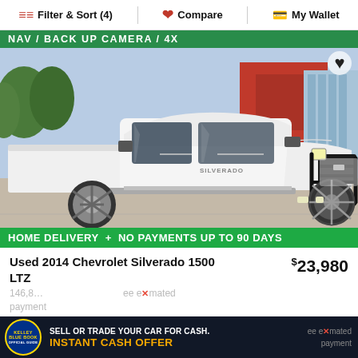Filter & Sort (4)  Compare  My Wallet
[Figure (photo): White 2014 Chevrolet Silverado 1500 LTZ pickup truck parked in a dealer lot with a green NAV/BACK UP CAMERA/4X banner at top and HOME DELIVERY + NO PAYMENTS UP TO 90 DAYS banner at bottom]
Used 2014 Chevrolet Silverado 1500 LTZ
$23,980
146,8... ee estimated payment
[Figure (infographic): Kelley Blue Book advertisement: SELL OR TRADE YOUR CAR FOR CASH. INSTANT CASH OFFER]